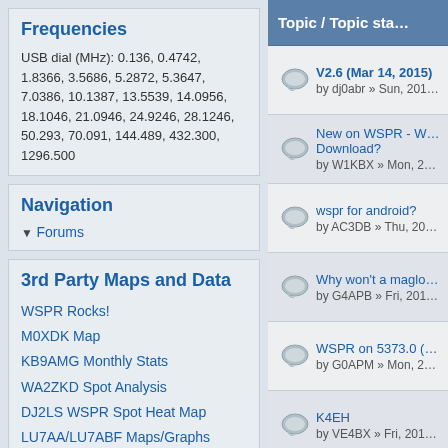Frequencies
USB dial (MHz): 0.136, 0.4742, 1.8366, 3.5686, 5.2872, 5.3647, 7.0386, 10.1387, 13.5539, 14.0956, 18.1046, 21.0946, 24.9246, 28.1246, 50.293, 70.091, 144.489, 432.300, 1296.500
Navigation
Forums
3rd Party Maps and Data
WSPR Rocks!
M0XDK Map
KB9AMG Monthly Stats
WA2ZKD Spot Analysis
DJ2LS WSPR Spot Heat Map
LU7AA/LU7ABF Maps/Graphs
Who's online
Topic / Topic sta…
V2.6 (Mar 14, 2015)
by dj0abr » Sun, 2015/02/01
New on WSPR - Where is OS Download?
by W1KBX » Mon, 2010/12/2…
wspr for android?
by AC3DB » Thu, 2014/08/14…
Why won't a magloop give go…
by G4APB » Fri, 2013/12/27…
WSPR on 5373.0 (5371.5)
by G0APM » Mon, 2012/03/0…
K4EH
by VE4BX » Fri, 2015/01/30…
WSPR Should Frequency H…